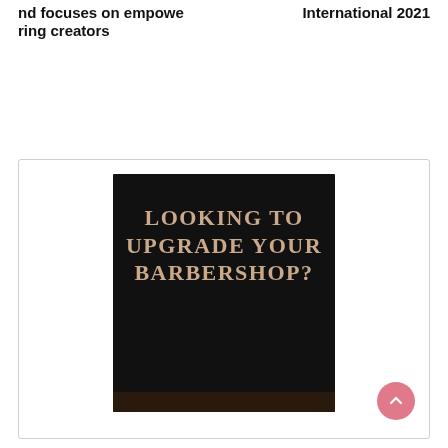nd focuses on empowering creators
International 2021
[Figure (illustration): Black promotional card with text 'LOOKING TO UPGRADE YOUR BARBERSHOP?' in a serif golden/tan font on a dark background, with a dark wooden surface visible at the bottom.]